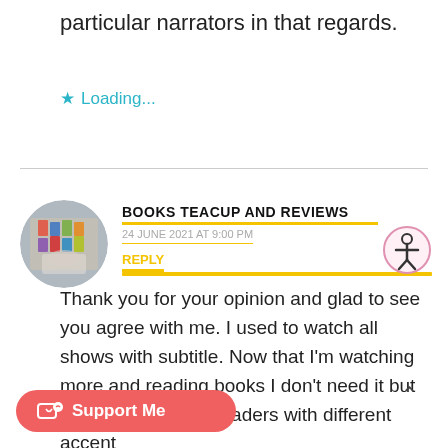particular narrators in that regards.
Loading...
BOOKS TEACUP AND REVIEWS
24 JUNE 2021 AT 9:00 PM
REPLY
Thank you for your opinion and glad to see you agree with me. I used to watch all shows with subtitle. Now that I'm watching more and reading books I don't need it but it can be issue for readers with different accent
Support Me